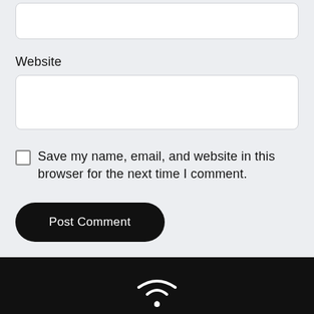Website
Save my name, email, and website in this browser for the next time I comment.
Post Comment
[Figure (logo): White wifi/signal arc icon in dark footer]